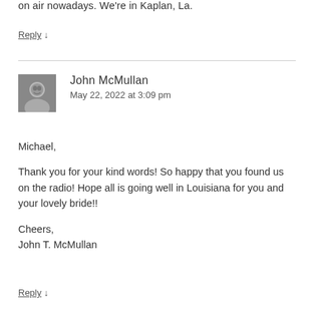on air nowadays. We're in Kaplan, La.
Reply ↓
John McMullan
May 22, 2022 at 3:09 pm
Michael,

Thank you for your kind words! So happy that you found us on the radio! Hope all is going well in Louisiana for you and your lovely bride!!

Cheers,
John T. McMullan
Reply ↓